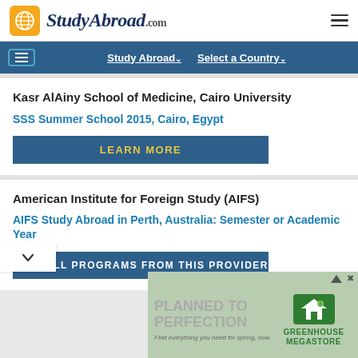[Figure (logo): StudyAbroad.com logo with globe icon on yellow/orange square background and site name in dark blue italic font]
Study Abroad▾   Select a Country▾
Kasr AlAiny School of Medicine, Cairo University
SSS Summer School 2015, Cairo, Egypt
LEARN MORE
American Institute for Foreign Study (AIFS)
AIFS Study Abroad in Perth, Australia: Semester or Academic Year
VIEW ALL PROGRAMS FROM THIS PROVIDER
[Figure (photo): Advertisement banner for Greenhouse Megastore with text 'PLANNED TO PERFECTION' and 'Find everything you need for spring, now' with green house logo]